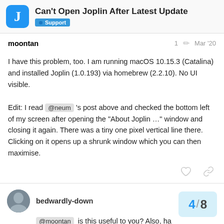Can't Open Joplin After Latest Update — Support
moontan  1  Mar '20
I have this problem, too. I am running macOS 10.15.3 (Catalina) and installed Joplin (1.0.193) via homebrew (2.2.10). No UI visible.

Edit: I read @neum 's post above and checked the bottom left of my screen after opening the "About Joplin …" window and closing it again. There was a tiny one pixel vertical line there. Clicking on it opens up a shrunk window which you can then maximise.
bedwardly-down  Mar '20
@moontan  is this useful to you? Also, ha
4 / 8